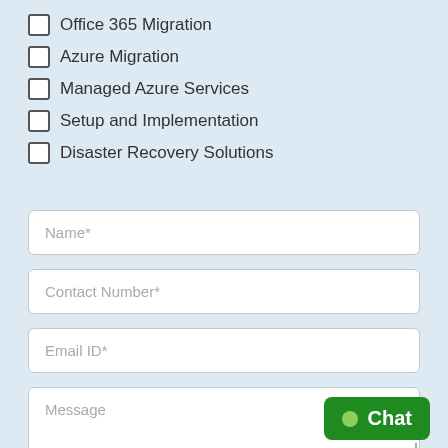Office 365 Migration
Azure Migration
Managed Azure Services
Setup and Implementation
Disaster Recovery Solutions
Name*
Contact Number*
Email ID*
Message
Chat